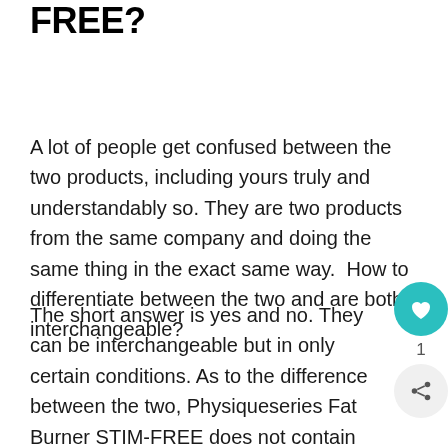Burner and Fat Burner STIM FREE?
A lot of people get confused between the two products, including yours truly and understandably so. They are two products from the same company and doing the same thing in the exact same way. How to differentiate between the two and are both interchangeable?
The short answer is yes and no. They can be interchangeable but in only certain conditions. As to the difference between the two, Physiqueseries Fat Burner STIM-FREE does not contain any stimulant in it while the normal Physiqueseries Fat Burner does have a stimulant in it.